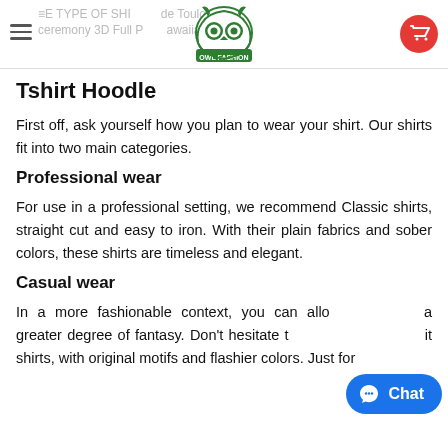≡ TYPE OF SHIRT Guide Toulousain ceremony 3D Full Print Hawaiian Shirt | OWL FASHION
Tshirt Hoodle
First off, ask yourself how you plan to wear your shirt. Our shirts fit into two main categories.
Professional wear
For use in a professional setting, we recommend Classic shirts, straight cut and easy to iron. With their plain fabrics and sober colors, these shirts are timeless and elegant.
Casual wear
In a more fashionable context, you can allow yourself a greater degree of fantasy. Don't hesitate to exhibit shirts, with original motifs and flashier colors. Just for